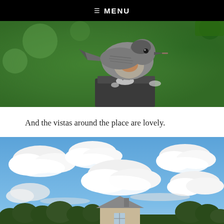☰ MENU
[Figure (photo): Close-up photo of a bird (appears to be a robin or similar songbird) perched on a dark post or surface, with green blurred background]
And the vistas around the place are lovely.
[Figure (photo): Landscape photo showing a bright blue sky with large white cumulus clouds, trees and a house rooftop visible along the bottom edge]